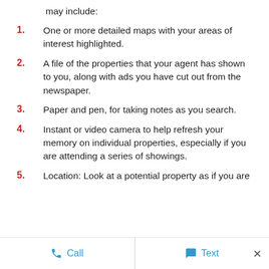may include:
One or more detailed maps with your areas of interest highlighted.
A file of the properties that your agent has shown to you, along with ads you have cut out from the newspaper.
Paper and pen, for taking notes as you search.
Instant or video camera to help refresh your memory on individual properties, especially if you are attending a series of showings.
Location: Look at a potential property as if you are the seller. Would your questions be satisfied by it.
Call   Text